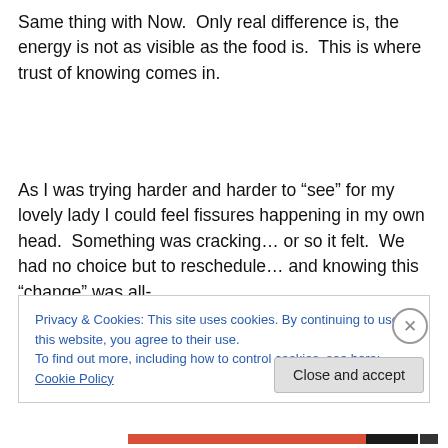Same thing with Now. Only real difference is, the energy is not as visible as the food is. This is where trust of knowing comes in.
As I was trying harder and harder to “see” for my lovely lady I could feel fissures happening in my own head. Something was cracking… or so it felt. We had no choice but to reschedule… and knowing this “change” was all-
Privacy & Cookies: This site uses cookies. By continuing to use this website, you agree to their use.
To find out more, including how to control cookies, see here: Cookie Policy
Close and accept